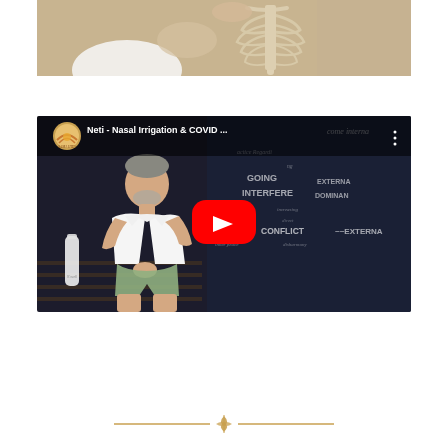[Figure (photo): Top cropped image showing a person in a white tank top with a skeleton/spine model, beige and tan tones]
[Figure (screenshot): YouTube video thumbnail showing a man in a white t-shirt seated in front of a chalkboard with text about GOING, INTERFERE, CONFLICT, EXTERNAL, DOMINANCE. Video title reads: Neti - Nasal Irrigation & COVID ... with a red YouTube play button overlay and Sama Hita logo in top left corner]
[Figure (illustration): Decorative horizontal divider with two gold/amber lines and a small floral or leaf motif icon in the center, in amber/gold color]